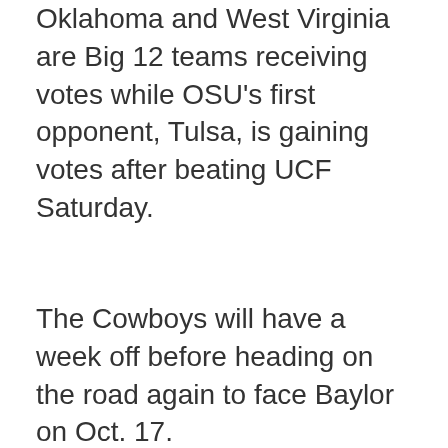Oklahoma and West Virginia are Big 12 teams receiving votes while OSU's first opponent, Tulsa, is gaining votes after beating UCF Saturday.
The Cowboys will have a week off before heading on the road again to face Baylor on Oct. 17.
[Figure (other): Yellow-green banner bar]
Author: OSU Athletics
Fans and alumni of Oklahoma